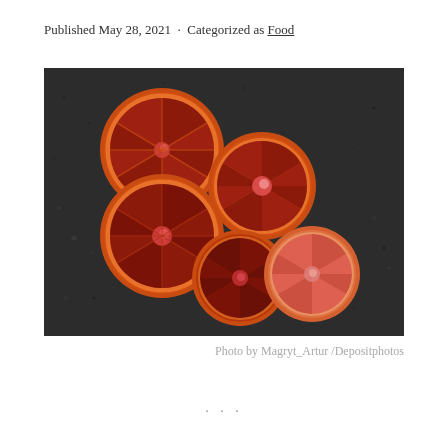Published May 28, 2021 · Categorized as Food
[Figure (photo): Five blood orange halves arranged on a dark wet slate surface, showing their deep red interior flesh with pith and segments visible. Shot from above.]
Photo by Magryt_Artur /Depositphotos